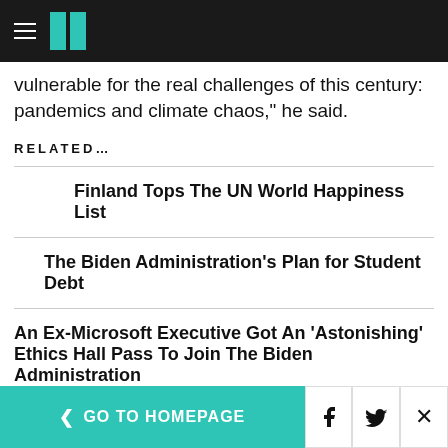HuffPost navigation logo
vulnerable for the real challenges of this century: pandemics and climate chaos,” he said.
RELATED…
Finland Tops The UN World Happiness List
The Biden Administration’s Plan for Student Debt
An Ex-Microsoft Executive Got An ‘Astonishing’ Ethics Hall Pass To Join The Biden Administration
Search for
1. SAMPLE THANK YOU LETTERS
< GO TO HOMEPAGE